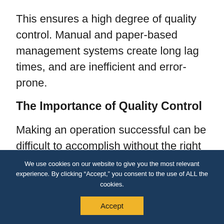This ensures a high degree of quality control. Manual and paper-based management systems create long lag times, and are inefficient and error-prone.
The Importance of Quality Control
Making an operation successful can be difficult to accomplish without the right resources in place. As a business owner, you are held
We use cookies on our website to give you the most relevant experience. By clicking “Accept,” you consent to the use of ALL the cookies.
Accept